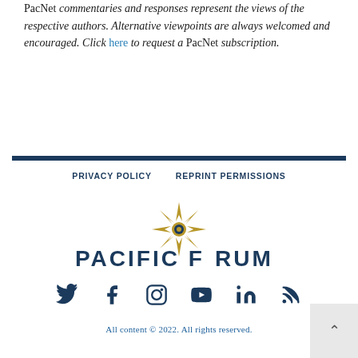PacNet commentaries and responses represent the views of the respective authors. Alternative viewpoints are always welcomed and encouraged. Click here to request a PacNet subscription.
PRIVACY POLICY   REPRINT PERMISSIONS
[Figure (logo): Pacific Forum logo with compass star design and text PACIFIC FORUM]
[Figure (infographic): Social media icons: Twitter, Facebook, Instagram, YouTube, LinkedIn, RSS]
All content © 2022. All rights reserved.